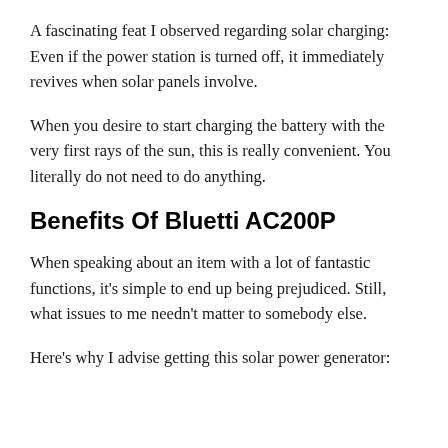A fascinating feat I observed regarding solar charging: Even if the power station is turned off, it immediately revives when solar panels involve.
When you desire to start charging the battery with the very first rays of the sun, this is really convenient. You literally do not need to do anything.
Benefits Of Bluetti AC200P
When speaking about an item with a lot of fantastic functions, it's simple to end up being prejudiced. Still, what issues to me needn't matter to somebody else.
Here's why I advise getting this solar power generator: